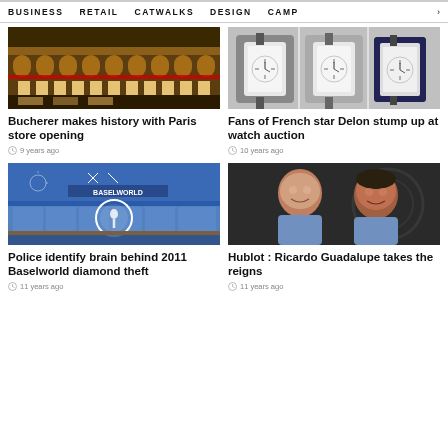BUSINESS   RETAIL   CATWALKS   DESIGN   CAMP >
[Figure (photo): Exterior night photo of Bucherer Paris store, illuminated building facade]
[Figure (photo): Three luxury watches (Santos de Cartier models) displayed on grey background]
Bucherer makes history with Paris store opening
9 years ago
Fans of French star Delon stump up at watch auction
10 years ago
[Figure (photo): Baselworld exhibition center exterior with large blue logo signage]
[Figure (photo): Two men smiling, portrait photo for Hublot article about Ricardo Guadalupe]
Police identify brain behind 2011 Baselworld diamond theft
11 years ago
Hublot : Ricardo Guadalupe takes the reigns
11 years ago